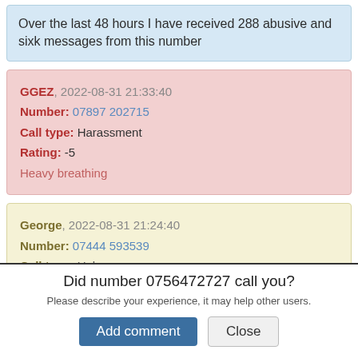Over the last 48 hours I have received 288 abusive and sixk messages from this number
GGEZ, 2022-08-31 21:33:40
Number: 07897 202715
Call type: Harassment
Rating: -5
Heavy breathing
George, 2022-08-31 21:24:40
Number: 07444 593539
Call type: Unknown
Did number 0756472727 call you?
Please describe your experience, it may help other users.
Add comment
Close